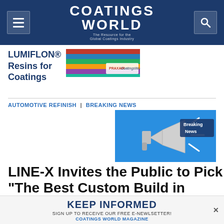COATINGS WORLD — The Resource for the Global Coatings Industry
[Figure (illustration): LUMIFLON Resins for Coatings advertisement thumbnail with colorful coated surfaces]
LUMIFLON® Resins for Coatings
AUTOMOTIVE REFINISH | BREAKING NEWS
[Figure (illustration): Breaking News graphic with megaphone on blue background]
LINE-X Invites the Public to Pick "The Best Custom Build in America"
LINE-X launched its "Shade of Customs"
[Figure (illustration): Bottom banner advertisement: KEEP INFORMED — Sign up to receive our free e-newsletter! Coatings World Magazine]